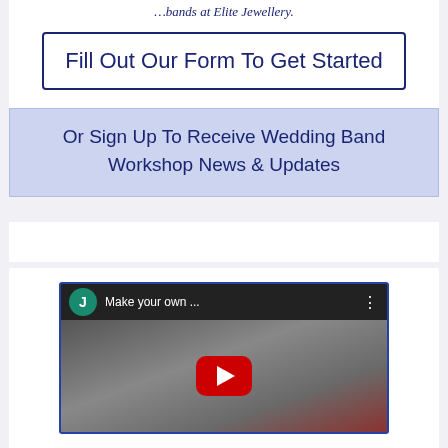...bands at Elite Jewellery.
Fill Out Our Form To Get Started
Or Sign Up To Receive Wedding Band Workshop News & Updates
[Figure (screenshot): YouTube video thumbnail showing two people in a workshop setting with a play button overlay. Title reads 'Make your own ...']